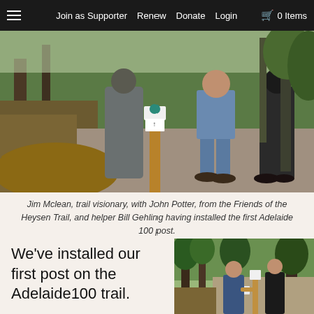Join as Supporter  Renew  Donate  Login  🛒 0 Items
[Figure (photo): Three people standing on a gravel trail path beside a wooden post with trail marker signs in a bushland setting]
Jim Mclean, trail visionary, with John Potter, from the Friends of the Heysen Trail, and helper Bill Gehling having installed the first Adelaide 100 post.
We've installed our first post on the Adelaide100 trail.
The Adelaide 100 will link up existing infrastructure,
[Figure (photo): Two people working on installing a trail post on a dirt path lined with tall trees]